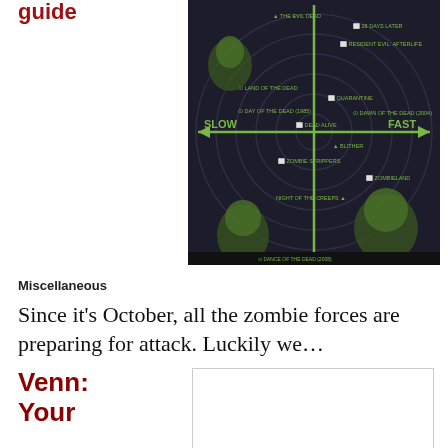guide
[Figure (infographic): Zombie movie classification chart on a radar/target background with axes: SLOW (left) to FAST (right) horizontally, and SMART to DUMB vertically. Various zombie movies plotted: The Evil Dead, 28 Days Later, Resident Evil Afterlife, Land of the Dead, Quarantine, Day of the Dead (1985), Dawn of the Dead (2004), Dead Alive, Blither, Zombie Strippers, Zombieland, Night of the Creeps, and others. Green zombie face illustrations in corners.]
Miscellaneous
Since it’s October, all the zombie forces are preparing for attack. Luckily we…
Venn:
Your
[Figure (other): Empty white box, partially visible Venn diagram placeholder]